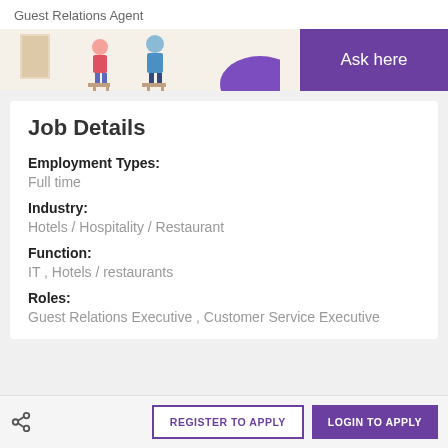Guest Relations Agent
[Figure (illustration): Banner with illustrated figures seated at stools and a purple 'Ask here' button on the right]
Job Details
Employment Types:
Full time
Industry:
Hotels / Hospitality / Restaurant
Function:
IT , Hotels / restaurants
Roles:
Guest Relations Executive , Customer Service Executive